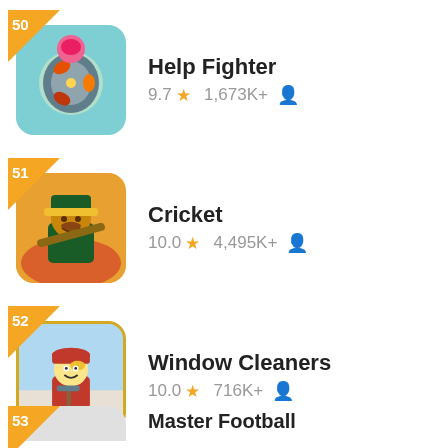[Figure (screenshot): App listing entry #50: Help Fighter game icon - colorful character with shield, pink/teal background]
50
Help Fighter
9.7 ★  1,673K+ 👤
[Figure (screenshot): App listing entry #51: Cricket game icon - cartoon cricket player character in green/yellow costume]
51
Cricket
10.0 ★  4,495K+ 👤
[Figure (screenshot): App listing entry #52: Window Cleaners game icon - cartoon window cleaner with red cap and squeegee]
52
Window Cleaners
10.0 ★  716K+ 👤
53
Master Football